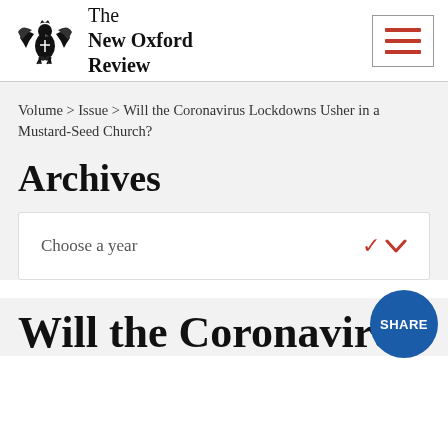The New Oxford Review
Volume > Issue > Will the Coronavirus Lockdowns Usher in a Mustard-Seed Church?
Archives
Choose a year
Will the Coronavirus